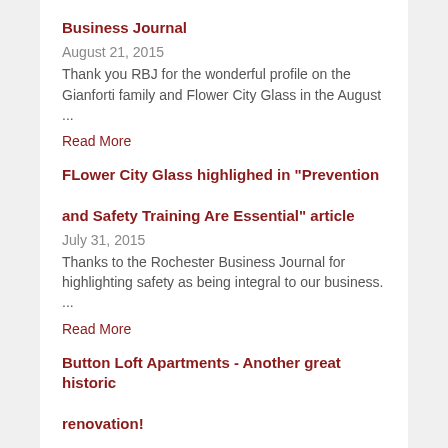Business Journal
August 21, 2015
Thank you RBJ for the wonderful profile on the Gianforti family and Flower City Glass in the August ...
Read More
FLower City Glass highlighed in "Prevention and Safety Training Are Essential" article
July 31, 2015
Thanks to the Rochester Business Journal for highlighting safety as being integral to our business. ...
Read More
Button Loft Apartments - Another great historic renovation!